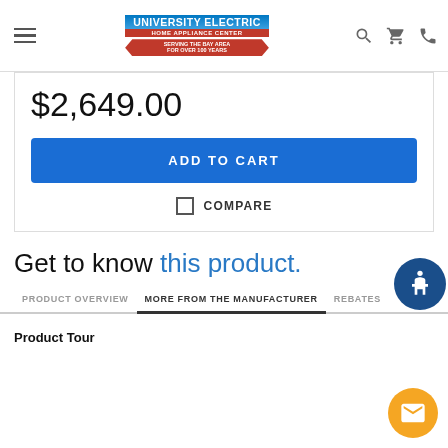University Electric Home Appliance Center — navigation header with logo, search, cart, and phone icons
$2,649.00
ADD TO CART
COMPARE
Get to know this product.
PRODUCT OVERVIEW | MORE FROM THE MANUFACTURER | REBATES
Product Tour